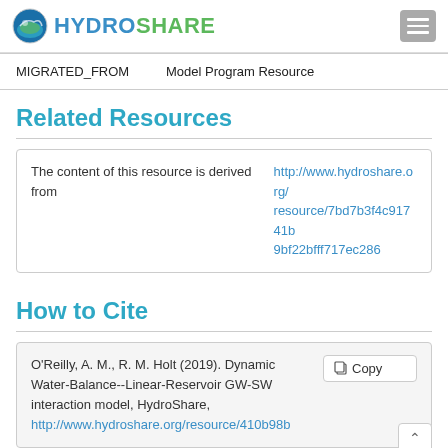HYDROSHARE
| Key | Value |
| --- | --- |
| MIGRATED_FROM | Model Program Resource |
Related Resources
| Description | Link |
| --- | --- |
| The content of this resource is derived from | http://www.hydroshare.org/resource/7bd7b3f4c91741b9bf22bfff717ec286 |
How to Cite
O'Reilly, A. M., R. M. Holt (2019). Dynamic Water-Balance--Linear-Reservoir GW-SW interaction model, HydroShare, http://www.hydroshare.org/resource/410b98b